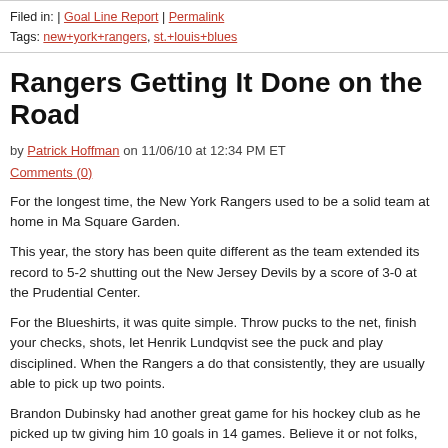Filed in: | Goal Line Report | Permalink
Tags: new+york+rangers, st.+louis+blues
Rangers Getting It Done on the Road
by Patrick Hoffman on 11/06/10 at 12:34 PM ET
Comments (0)
For the longest time, the New York Rangers used to be a solid team at home in Ma Square Garden.
This year, the story has been quite different as the team extended its record to 5-2 shutting out the New Jersey Devils by a score of 3-0 at the Prudential Center.
For the Blueshirts, it was quite simple. Throw pucks to the net, finish your checks, shots, let Henrik Lundqvist see the puck and play disciplined. When the Rangers a do that consistently, they are usually able to pick up two points.
Brandon Dubinsky had another great game for his hockey club as he picked up tw giving him 10 goals in 14 games. Believe it or not folks, that's good enough to be t in the NHL with Tampa Bay Lightning sniper Steven Stamkos and Chicago Blackha forward Patrick Sharp.
Continue Reading »
Filed in: | Goal Line Report | Permalink
Tags: brandon+dubinsky, chris+drury, henrik+lundqvist, marian+gaborik, new+jerse